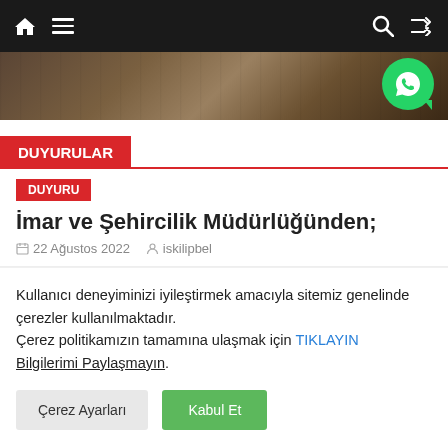Navigation bar with home, menu, search, and shuffle icons
[Figure (photo): Partial photo of a room/building interior, dark brownish tones]
DUYURULAR
DUYURU
İmar ve Şehircilik Müdürlüğünden;
22 Ağustos 2022   iskilipbel
Kullanıcı deneyiminizi iyileştirmek amacıyla sitemiz genelinde çerezler kullanılmaktadır.
Çerez politikamızın tamamına ulaşmak için TIKLAYIN
Bilgilerimi Paylaşmayın.
Çerez Ayarları
Kabul Et